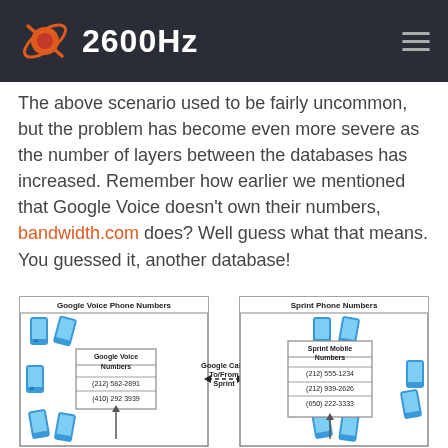2600Hz
The above scenario used to be fairly uncommon, but the problem has become even more severe as the number of layers between the databases has increased. Remember how earlier we mentioned that Google Voice doesn't own their numbers, bandwidth.com does? Well guess what that means. You guessed it, another database!
[Figure (infographic): Two database/phone number diagrams side by side. Left box labeled 'Google Voice Phone Numbers' with phone icons and a sub-box labeled 'Google Voice Numbers' showing (212) 582-2891 and (410) 292 3939. Right box labeled 'Sprint Phone Numbers' with phone icons and sub-box labeled 'Sprint Mobile Numbers' showing (212) 555-1234, (212) 939-2626, (650) 222-3333. A dotted double-headed arrow labeled 'Google Calls To/From Sprint' connects them.]